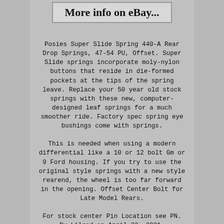More info on eBay...
Posies Super Slide Spring 440-A Rear Drop Springs, 47-54 PU, Offset. Super Slide springs incorporate moly-nylon buttons that reside in die-formed pockets at the tips of the spring leave. Replace your 50 year old stock springs with these new, computer-designed leaf springs for a much smoother ride. Factory spec spring eye bushings come with springs.
This is needed when using a modern differential like a 10 or 12 bolt Gm or 9 Ford housing. If you try to use the original style springs with a new style rearend, the wheel is too far forward in the opening. Offset Center Bolt for Late Model Rears.
For stock center Pin Location see PN. By Lilred on April 22, 2021.
Worked very well hopefully they will settle some. Easy to install very well thought out product.
By mike on May 03, 2020. We drive the truck a lot. We have been to a lot of states. Yes, I recommend this product.